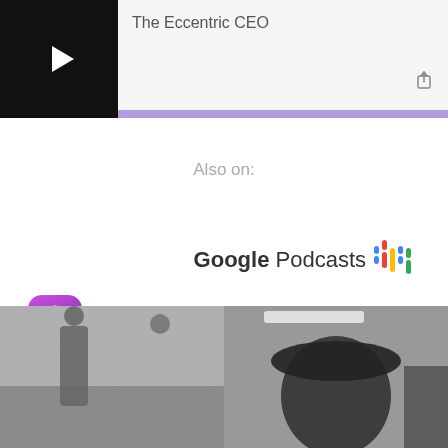[Figure (screenshot): Podcast player card with black thumbnail showing play button and title 'The Eccentric CEO', with a purple progress bar at bottom]
Also on:
[Figure (logo): Google Podcasts logo with colorful bar chart icon]
[Figure (logo): Apple Podcasts logo with purple gradient icon and podcast antenna symbol]
[Figure (photo): Black and white photo of two people in what appears to be an indoor setting]